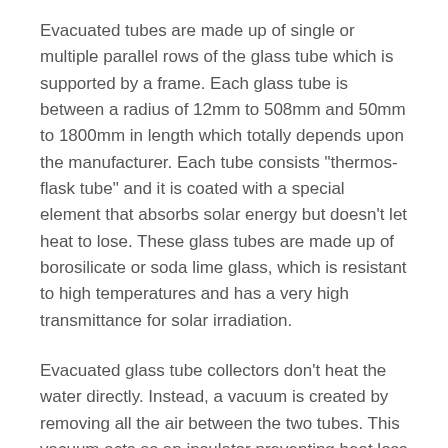Evacuated tubes are made up of single or multiple parallel rows of the glass tube which is supported by a frame. Each glass tube is between a radius of 12mm to 508mm and 50mm to 1800mm in length which totally depends upon the manufacturer. Each tube consists "thermos-flask tube" and it is coated with a special element that absorbs solar energy but doesn't let heat to lose. These glass tubes are made up of borosilicate or soda lime glass, which is resistant to high temperatures and has a very high transmittance for solar irradiation.
Evacuated glass tube collectors don't heat the water directly. Instead, a vacuum is created by removing all the air between the two tubes. This vacuum acts as an insulator preventing heat loss to the surrounding atmosphere through radiation making the collector more efficient than the flat plate collectors have to offer. With the help of this vacuum, evacuated glass tube collectors generally produce higher